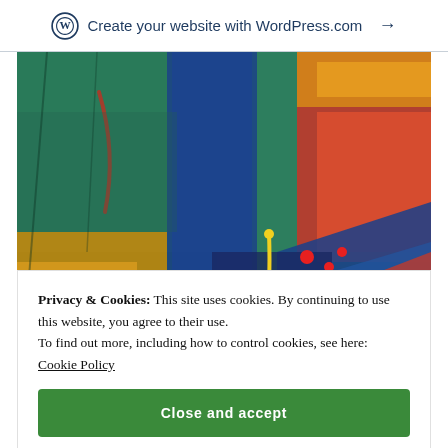Create your website with WordPress.com →
[Figure (illustration): Abstract colorful painting with teal, blue, red, orange, and yellow paint strokes and red dot splatters]
Privacy & Cookies: This site uses cookies. By continuing to use this website, you agree to their use.
To find out more, including how to control cookies, see here: Cookie Policy
Close and accept